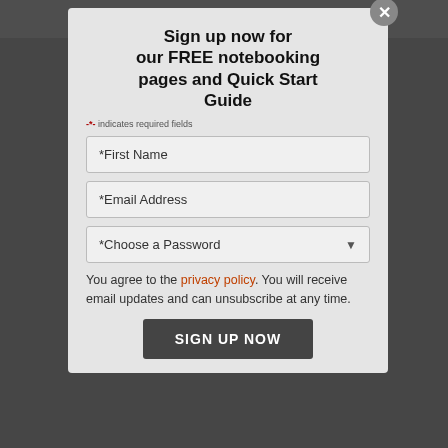[Figure (screenshot): Background website page showing notebooking pages website with dark overlay]
Sign up now for our FREE notebooking pages and Quick Start Guide
* indicates required fields
*First Name
*Email Address
*Choose a Password
You agree to the privacy policy. You will receive email updates and can unsubscribe at any time.
SIGN UP NOW